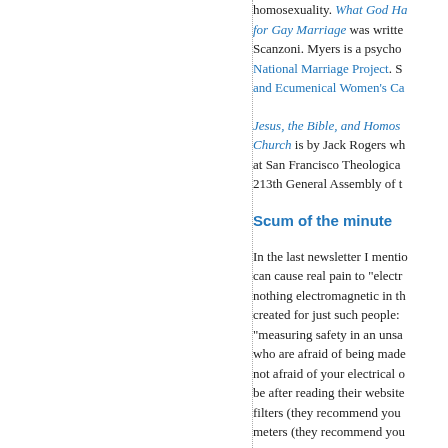homosexuality. What God Has Joined Together: A Christian Case for Gay Marriage was written by Scanzoni. Myers is a psycho... National Marriage Project. Sc... and Ecumenical Women's Ca...
Jesus, the Bible, and Homos... Church is by Jack Rogers wh... at San Francisco Theological... 213th General Assembly of th...
Scum of the minute
In the last newsletter I mentio... can cause real pain to "electr... nothing electromagnetic in th... created for just such people: ... "measuring safety in an unsa... who are afraid of being made... not afraid of your electrical o... be after reading their website... filters (they recommend you ... meters (they recommend you...